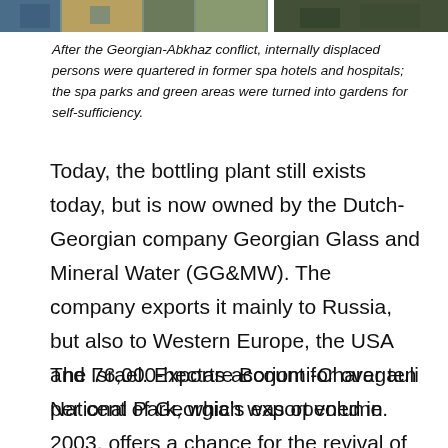[Figure (photo): Two cropped photos at top of page: left shows colorful building facades (blue and yellow), right shows a dark rocky or forested landscape.]
After the Georgian-Abkhaz conflict, internally displaced persons were quartered in former spa hotels and hospitals; the spa parks and green areas were turned into gardens for self-sufficiency.
Today, the bottling plant still exists today, but is now owned by the Dutch-Georgian company Georgian Glass and Mineral Water (GG&MW). The company exports it mainly to Russia, but also to Western Europe, the USA and Israel. Exports account for over ten per cent of Georgia’s export volume.
The 76,000-hectare Borjomi-Charagauli National Park, which was opened in 2003, offers a chance for the revival of tourism. It is intended to attract